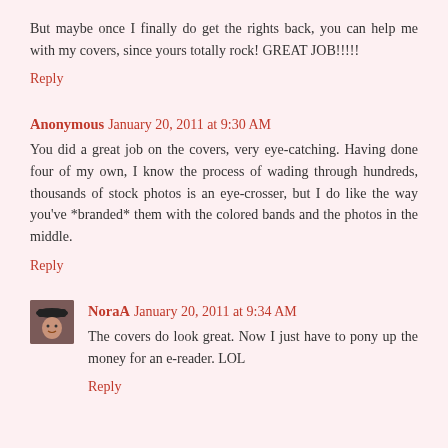But maybe once I finally do get the rights back, you can help me with my covers, since yours totally rock! GREAT JOB!!!!!
Reply
Anonymous  January 20, 2011 at 9:30 AM
You did a great job on the covers, very eye-catching. Having done four of my own, I know the process of wading through hundreds, thousands of stock photos is an eye-crosser, but I do like the way you've *branded* them with the colored bands and the photos in the middle.
Reply
NoraA  January 20, 2011 at 9:34 AM
The covers do look great. Now I just have to pony up the money for an e-reader. LOL
Reply